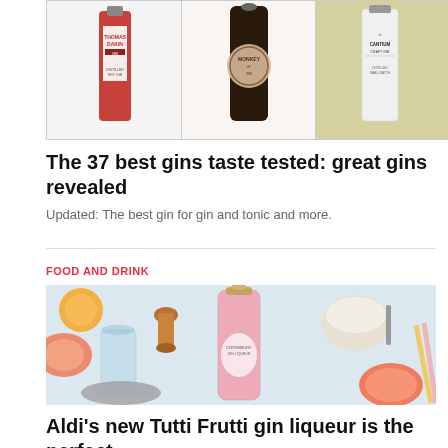[Figure (photo): Three gin bottles side by side: Thomas Dakin red label, a dark bottle with circular label, and Cantium Craft Gin white bottle, against white backgrounds]
The 37 best gins taste tested: great gins revealed
Updated: The best gin for gin and tonic and more.
FOOD AND DRINK
[Figure (photo): Overhead flat-lay of a pink gin bottle (Crossbury Gin Liqueur), cocktail shaker strainer, copper jigger, a glass with citrus and botanicals, a bowl with cream dessert and orange pieces, grapefruit slices, and striped straws on a light blue background]
Aldi's new Tutti Frutti gin liqueur is the perfect